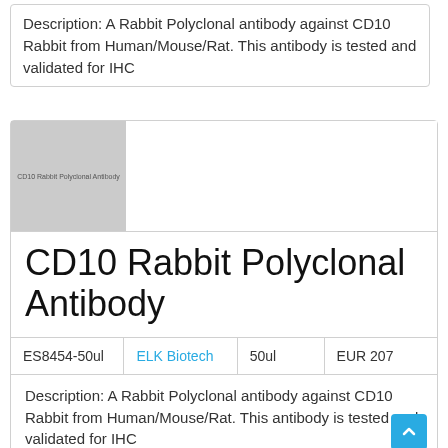Description: A Rabbit Polyclonal antibody against CD10 Rabbit from Human/Mouse/Rat. This antibody is tested and validated for IHC
[Figure (photo): Product image placeholder showing CD10 Rabbit Polyclonal Antibody label in gray]
CD10 Rabbit Polyclonal Antibody
| ES8454-50ul | ELK Biotech | 50ul | EUR 207 |
| --- | --- | --- | --- |
Description: A Rabbit Polyclonal antibody against CD10 Rabbit from Human/Mouse/Rat. This antibody is tested and validated for IHC